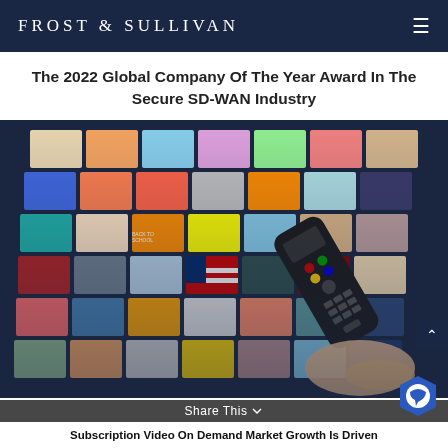FROST & SULLIVAN
The 2022 Global Company Of The Year Award In The Secure SD-WAN Industry
[Figure (photo): A person holding a TV remote control pointed at a large curved display wall showing a grid of multiple video thumbnails including food, travel, news, and entertainment content.]
Share This
Subscription Video On Demand Market Growth Is Driven